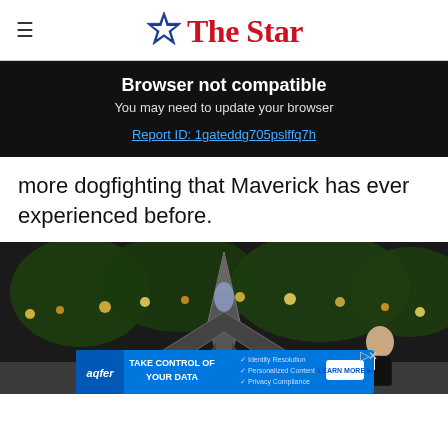The Star
Browser not compatible
You may need to update your browser
Report ID: 1gateddg705pslffq7h
more dogfighting that Maverick has ever experienced before.
[Figure (photo): A fighter jet on display at a premiere event, with a man in a tuxedo visible to the right, surrounded by trees and lights in the background.]
TAKE CONTROL OF YOUR DATA — aqfer — Identity Resolution, Personalized Content, Privacy Compliance — LEARN MORE